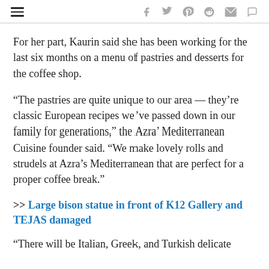≡  f  twitter  pinterest  reddit  mail  comment
For her part, Kaurin said she has been working for the last six months on a menu of pastries and desserts for the coffee shop.
“The pastries are quite unique to our area — they're classic European recipes we've passed down in our family for generations,” the Azra’ Mediterranean Cuisine founder said. “We make lovely rolls and strudels at Azra’s Mediterranean that are perfect for a proper coffee break.”
>> Large bison statue in front of K12 Gallery and TEJAS damaged
“There will be Italian, Greek, and Turkish delicate...